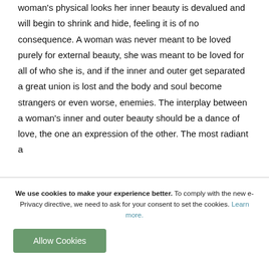woman's physical looks her inner beauty is devalued and will begin to shrink and hide, feeling it is of no consequence. A woman was never meant to be loved purely for external beauty, she was meant to be loved for all of who she is, and if the inner and outer get separated a great union is lost and the body and soul become strangers or even worse, enemies. The interplay between a woman's inner and outer beauty should be a dance of love, the one an expression of the other. The most radiant a
We use cookies to make your experience better. To comply with the new e-Privacy directive, we need to ask for your consent to set the cookies. Learn more.